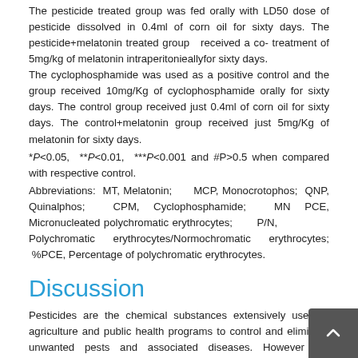The pesticide treated group was fed orally with LD50 dose of pesticide dissolved in 0.4ml of corn oil for sixty days. The pesticide+melatonin treated group received a co- treatment of 5mg/kg of melatonin intraperitonieallyfor sixty days. The cyclophosphamide was used as a positive control and the group received 10mg/Kg of cyclophosphamide orally for sixty days. The control group received just 0.4ml of corn oil for sixty days. The control+melatonin group received just 5mg/Kg of melatonin for sixty days.
*P<0.05, **P<0.01, ***P<0.001 and #P>0.5 when compared with respective control.
Abbreviations: MT, Melatonin; MCP, Monocrotophos; QNP, Quinalphos; CPM, Cyclophosphamide; MN PCE, Micronucleated polychromatic erythrocytes; P/N, Polychromatic erythrocytes/Normochromatic erythrocytes; %PCE, Percentage of polychromatic erythrocytes.
Discussion
Pesticides are the chemical substances extensively used in agriculture and public health programs to control and eliminate unwanted pests and associated diseases. However the increased use of these compounds has caused adverse health effects and